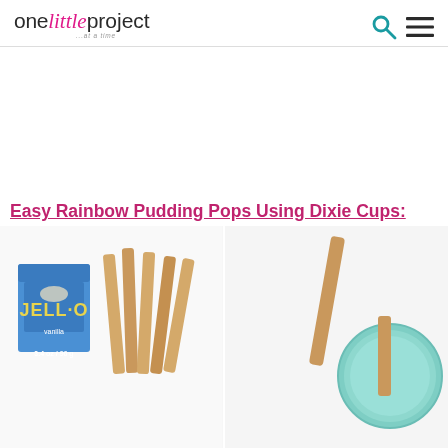one little project ...at a time
[Figure (other): Advertisement white space area]
Easy Rainbow Pudding Pops Using Dixie Cups:
[Figure (photo): Left: Jell-O vanilla pudding box and wooden popsicle sticks on white background. Right: A mint/teal colored cup with a popsicle stick inserted, viewed from above on white background.]